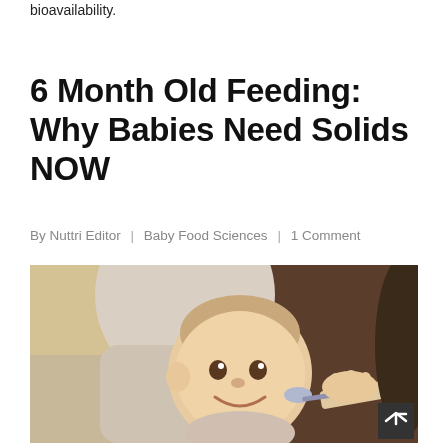bioavailability.
6 Month Old Feeding: Why Babies Need Solids NOW
By Nuttri Editor  |  Baby Food Sciences  |  1 Comment
[Figure (photo): A smiling baby sitting in a high chair being fed with a spoon by an adult (partially visible on the right). Indoor setting with warm lighting.]